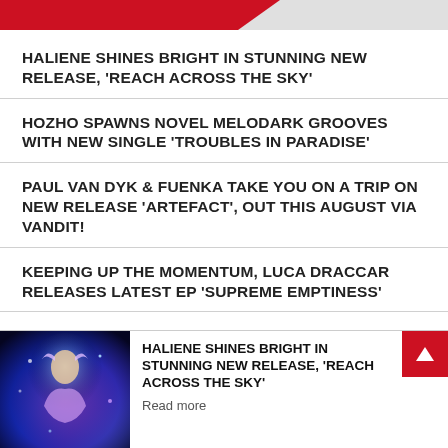HALIENE SHINES BRIGHT IN STUNNING NEW RELEASE, 'REACH ACROSS THE SKY'
HOZHO SPAWNS NOVEL MELODARK GROOVES WITH NEW SINGLE 'TROUBLES IN PARADISE'
PAUL VAN DYK & FUENKA TAKE YOU ON A TRIP ON NEW RELEASE 'ARTEFACT', OUT THIS AUGUST VIA VANDIT!
KEEPING UP THE MOMENTUM, LUCA DRACCAR RELEASES LATEST EP 'SUPREME EMPTINESS'
SHINI SINGER...
[Figure (photo): Promotional photo of Haliene with glowing blue and purple fantasy-style imagery]
HALIENE SHINES BRIGHT IN STUNNING NEW RELEASE, 'REACH ACROSS THE SKY'
Read more